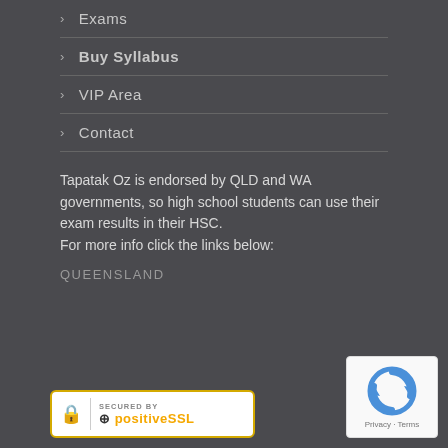> Exams
> Buy Syllabus
> VIP Area
> Contact
Tapatak Oz is endorsed by QLD and WA governments, so high school students can use their exam results in their HSC.
For more info click the links below:
QUEENSLAND
[Figure (logo): Secured by PositiveSSL badge with padlock icon and gold border]
[Figure (logo): Google reCAPTCHA badge with blue arrow logo and Privacy - Terms text]